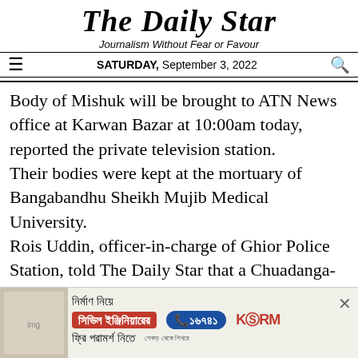The Daily Star
Journalism Without Fear or Favour
SATURDAY, September 3, 2022
Body of Mishuk will be brought to ATN News office at Karwan Bazar at 10:00am today, reported the private television station.
Their bodies were kept at the mortuary of Bangabandhu Sheikh Mujib Medical University.
Rois Uddin, officer-in-charge of Ghior Police Station, told The Daily Star that a Chuadanga-bound bus from Dhaka collided with the microbus travelling to Manikganj town in Joka
[Figure (other): Advertisement banner for KSRM civil engineering consultation service with phone number 16749, with Bengali text meaning 'about construction, civil engineer, free consultation']